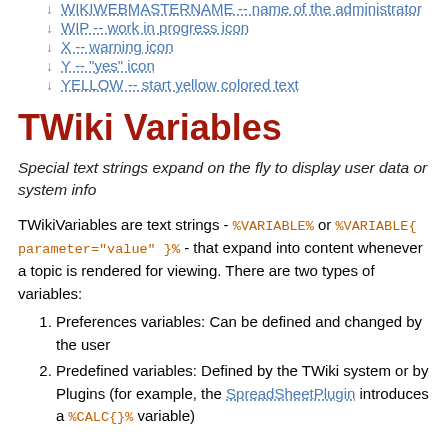↓ WIKIWEBMASTERNAME -- name of the administrator
↓ WIP -- work in progress icon
↓ X -- warning icon
↓ Y -- "yes" icon
↓ YELLOW -- start yellow colored text
TWiki Variables
Special text strings expand on the fly to display user data or system info
TWikiVariables are text strings - %VARIABLE% or %VARIABLE{ parameter="value" }% - that expand into content whenever a topic is rendered for viewing. There are two types of variables:
1. Preferences variables: Can be defined and changed by the user
2. Predefined variables: Defined by the TWiki system or by Plugins (for example, the SpreadSheetPlugin introduces a %CALC{}% variable)
Using Variables